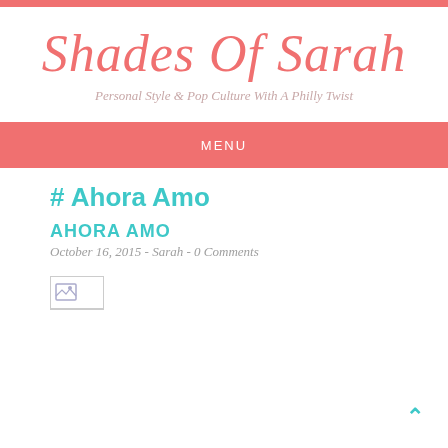Shades Of Sarah
Personal Style & Pop Culture With A Philly Twist
MENU
# Ahora Amo
AHORA AMO
October 16, 2015 - Sarah - 0 Comments
[Figure (photo): Broken image placeholder with image icon]